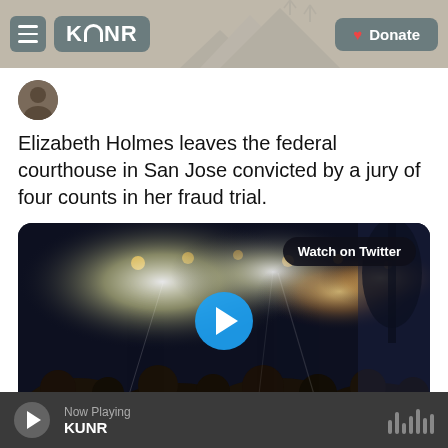KUNR | Donate
[Figure (screenshot): KUNR public radio website header with hamburger menu, KUNR logo, and Donate button]
Elizabeth Holmes leaves the federal courthouse in San Jose convicted by a jury of four counts in her fraud trial.
[Figure (photo): Dark nighttime video thumbnail showing crowd with bright camera flashes and lights outside courthouse, with Watch on Twitter button and play button overlay]
1:29 AM · Jan 4, 2022
Now Playing KUNR